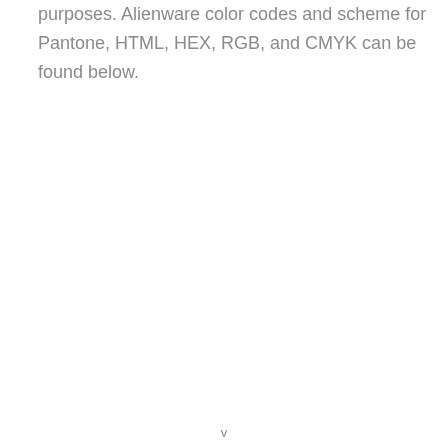purposes. Alienware color codes and scheme for Pantone, HTML, HEX, RGB, and CMYK can be found below.
v